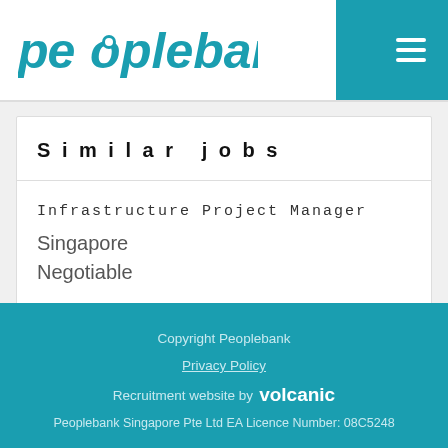peoplebank
Similar jobs
Infrastructure Project Manager
Singapore
Negotiable
Copyright Peoplebank
Privacy Policy
Recruitment website by volcanic
Peoplebank Singapore Pte Ltd EA Licence Number: 08C5248